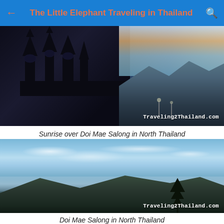The Little Elephant Traveling in Thailand
[Figure (photo): Sunrise over Doi Mae Salong in North Thailand, showing dark silhouettes of temple structures on the left and mountain ranges glowing under a warm sunrise sky on the right, with watermark Traveling2Thailand.com]
Sunrise over Doi Mae Salong in North Thailand
[Figure (photo): Daytime aerial view of Doi Mae Salong in North Thailand, showing bright blue sky with scattered white clouds, misty mountain valleys, dark forest ridgelines, and a lone tree silhouette in the foreground, with watermark Traveling2Thailand.com]
Doi Mae Salong in North Thailand